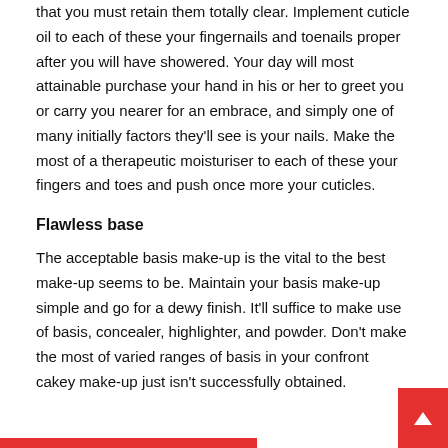that you must retain them totally clear. Implement cuticle oil to each of these your fingernails and toenails proper after you will have showered. Your day will most attainable purchase your hand in his or her to greet you or carry you nearer for an embrace, and simply one of many initially factors they'll see is your nails. Make the most of a therapeutic moisturiser to each of these your fingers and toes and push once more your cuticles.
Flawless base
The acceptable basis make-up is the vital to the best make-up seems to be. Maintain your basis make-up simple and go for a dewy finish. It'll suffice to make use of basis, concealer, highlighter, and powder. Don't make the most of varied ranges of basis in your confront cakey make-up just isn't successfully obtained.